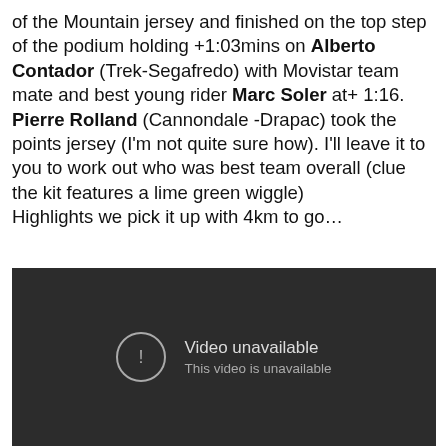of the Mountain jersey and finished on the top step of the podium holding +1:03mins on Alberto Contador (Trek-Segafredo) with Movistar team mate and best young rider Marc Soler at+ 1:16.  Pierre Rolland (Cannondale -Drapac) took the points jersey (I'm not quite sure how). I'll leave it to you to work out who was best team overall (clue the kit features a lime green wiggle)
Highlights we pick it up with 4km to go…
[Figure (screenshot): YouTube video embed showing 'Video unavailable - This video is unavailable' error message on a dark background]